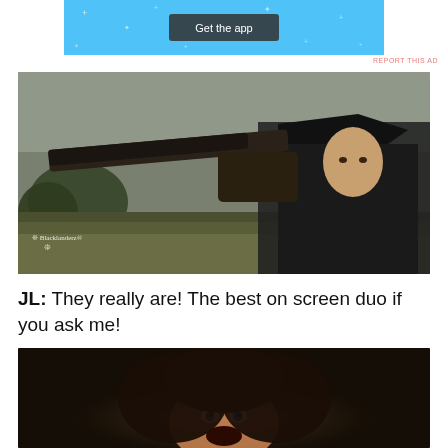[Figure (screenshot): Light blue ad banner with 'Get the app' dark button in center, decorative sparkle stars on background]
REPORT THIS AD
[Figure (photo): Man in colonial tricorn hat pointing a flintlock pistol toward camera outdoors, with trees and hills in background. Blacklanderz watermark in lower left.]
JL: They really are! The best on screen duo if you ask me!
[Figure (photo): Woman with dark curly hair looking upward with mouth open in shock or fear, dark background.]